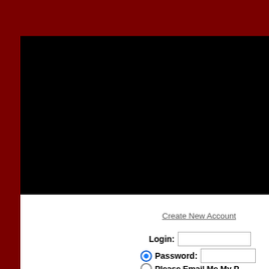[Figure (screenshot): Dark red background with a large black rectangle (website header/banner area). Navigation bar at bottom of black area shows HOME, ABOUT US, ACCOUNT tabs. White content area below with login form showing Create New Account link, Login field, Password field with radio button selected, and Please Email Me My P... text with radio button.]
HOME
ABOUT US
ACCOUNT
Create New Account
Login:
Password:
Please Email Me My P...